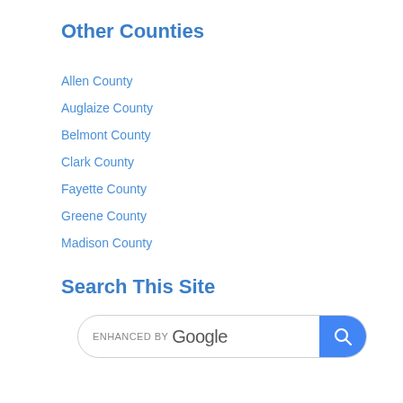Other Counties
Allen County
Auglaize County
Belmont County
Clark County
Fayette County
Greene County
Madison County
Search This Site
[Figure (other): Google enhanced search box with search button]